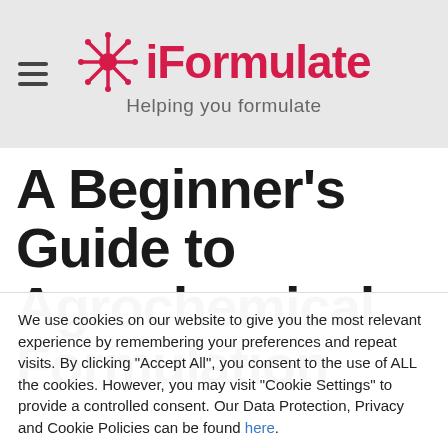iFormulate – Helping you formulate
A Beginner's Guide to Agrochemical Formulation
We use cookies on our website to give you the most relevant experience by remembering your preferences and repeat visits. By clicking "Accept All", you consent to the use of ALL the cookies. However, you may visit "Cookie Settings" to provide a controlled consent. Our Data Protection, Privacy and Cookie Policies can be found here.